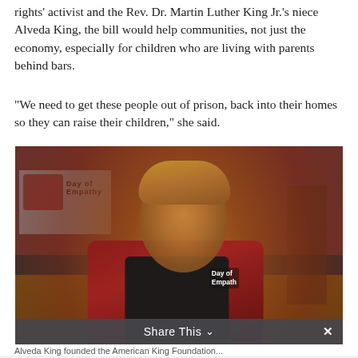rights' activist and the Rev. Dr. Martin Luther King Jr.'s niece Alveda King, the bill would help communities, not just the economy, especially for children who are living with parents behind bars.
“We need to get these people out of prison, back into their homes so they can raise their children,” she said.
[Figure (photo): A woman wearing a dark 'Day of Empathy' shirt and a red blazer speaks with hands open, standing in a gymnasium. A projection screen and heart logo are visible in the background.]
Alveda King founded the American King Foundation...